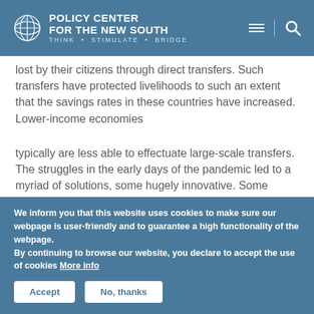Policy Center for the New South — Think · Stimulate · Bridge
lost by their citizens through direct transfers. Such transfers have protected livelihoods to such an extent that the savings rates in these countries have increased. Lower-income economies
typically are less able to effectuate large-scale transfers. The struggles in the early days of the pandemic led to a myriad of solutions, some hugely innovative. Some examples of innovation in Africa materialized around the use of e-wallets with direct cash transfers made to the phones of individuals. In
We inform you that this website uses cookies to make sure our webpage is user-friendly and to guarantee a high functionality of the webpage.
By continuing to browse our website, you declare to accept the use of cookies More info